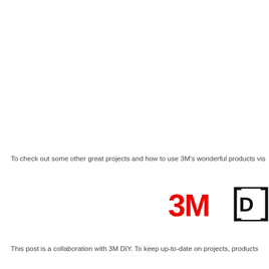To check out some other great projects and how to use 3M's wonderful products vis
[Figure (logo): 3M logo in red with bold stylized text '3M']
[Figure (logo): DIY logo in black square bracket style]
This post is a collaboration with 3M DIY. To keep up-to-date on projects, products